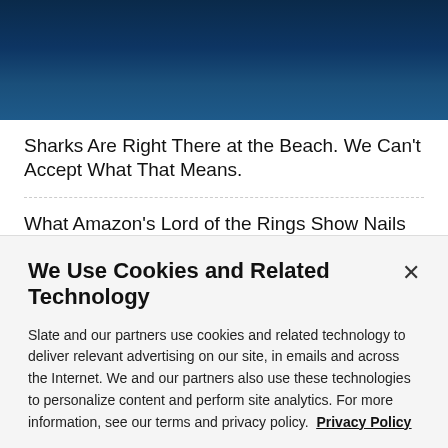[Figure (photo): Dark blue ocean/underwater photo at the top of the page]
Sharks Are Right There at the Beach. We Can't Accept What That Means.
What Amazon's Lord of the Rings Show Nails About Tolkien's Books
Help! I Found Something Truly Disturbing When Pet-Sitting for a Neighbor...
We Use Cookies and Related Technology
Slate and our partners use cookies and related technology to deliver relevant advertising on our site, in emails and across the Internet. We and our partners also use these technologies to personalize content and perform site analytics. For more information, see our terms and privacy policy. Privacy Policy
OK